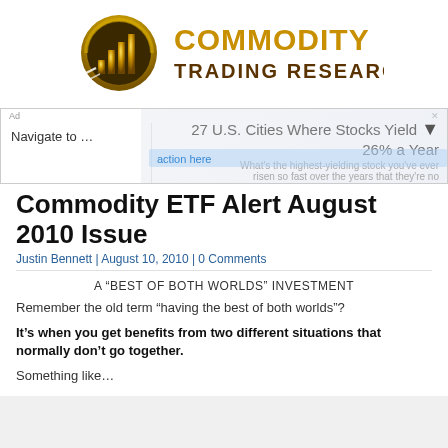[Figure (logo): Commodity Trading Research logo with gold circular chart icon and gold/brown text]
[Figure (screenshot): Advertisement overlay showing 'Navigate to ...' dropdown and '27 U.S. Cities Where Stocks Yield 26% a Year' ad with semi-transparent overlay]
Commodity ETF Alert August 2010 Issue
Justin Bennett | August 10, 2010 | 0 Comments
A “BEST OF BOTH WORLDS” INVESTMENT
Remember the old term “having the best of both worlds”?
It’s when you get benefits from two different situations that normally don’t go together.
Something like…